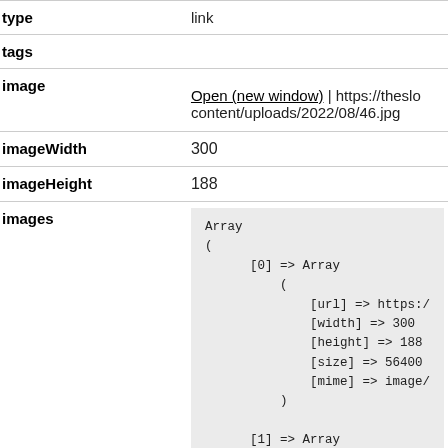| Field | Value |
| --- | --- |
| type | link |
| tags |  |
| image | Open (new window) | https://theslo…content/uploads/2022/08/46.jpg |
| imageWidth | 300 |
| imageHeight | 188 |
| images | Array
(
    [0] => Array
        (
            [url] => https:/…
            [width] => 300
            [height] => 188
            [size] => 56400
            [mime] => image/…
        )

    [1] => Array
        ( |